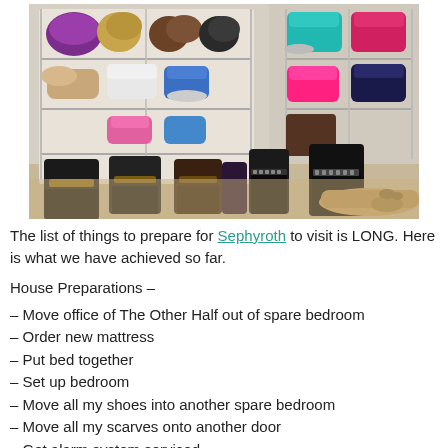[Figure (photo): A photo of multiple pairs of shoes including boots, sneakers, flats, and sandals organized on wire shoe racks and on the floor of a closet or room.]
The list of things to prepare for Sephyroth to visit is LONG. Here is what we have achieved so far.
House Preparations –
– Move office of The Other Half out of spare bedroom
– Order new mattress
– Put bed together
– Set up bedroom
– Move all my shoes into another spare bedroom
– Move all my scarves onto another door
– Get alarm system serviced